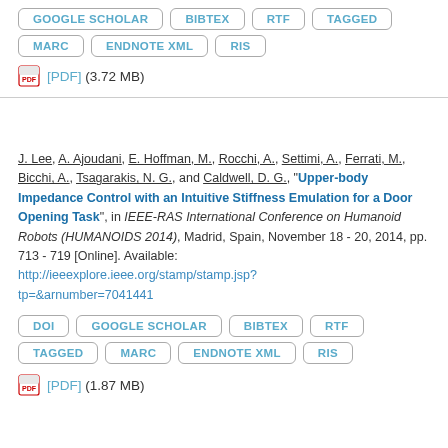GOOGLE SCHOLAR | BIBTEX | RTF | TAGGED | MARC | ENDNOTE XML | RIS
[PDF] (3.72 MB)
J. Lee, A. Ajoudani, E. Hoffman, M., Rocchi, A., Settimi, A., Ferrati, M., Bicchi, A., Tsagarakis, N. G., and Caldwell, D. G., "Upper-body Impedance Control with an Intuitive Stiffness Emulation for a Door Opening Task", in IEEE-RAS International Conference on Humanoid Robots (HUMANOIDS 2014), Madrid, Spain, November 18 - 20, 2014, pp. 713 - 719 [Online]. Available: http://ieeexplore.ieee.org/stamp/stamp.jsp?tp=&arnumber=7041441
DOI | GOOGLE SCHOLAR | BIBTEX | RTF | TAGGED | MARC | ENDNOTE XML | RIS
[PDF] (1.87 MB)